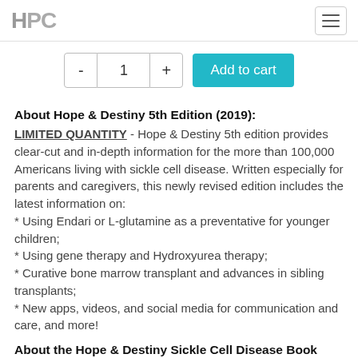HPC [logo] [hamburger menu]
[Figure (screenshot): Add to cart widget with quantity selector showing minus button, '1', plus button, and teal 'Add to cart' button]
About Hope & Destiny 5th Edition (2019):
LIMITED QUANTITY - Hope & Destiny 5th edition provides clear-cut and in-depth information for the more than 100,000 Americans living with sickle cell disease. Written especially for parents and caregivers, this newly revised edition includes the latest information on:
* Using Endari or L-glutamine as a preventative for younger children;
* Using gene therapy and Hydroxyurea therapy;
* Curative bone marrow transplant and advances in sibling transplants;
* New apps, videos, and social media for communication and care, and more!
About the Hope & Destiny Sickle Cell Disease Book